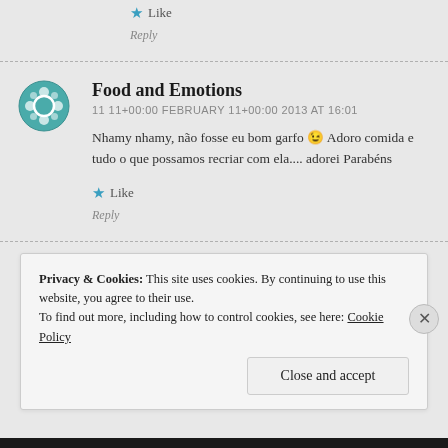★ Like
Reply
Food and Emotions
11 11+00:00 FEBRUARY 11+00:00 2013 AT 16:01
Nhamy nhamy, não fosse eu bom garfo 😉 Adoro comida e tudo o que possamos recriar com ela.... adorei Parabéns
★ Like
Reply
Privacy & Cookies: This site uses cookies. By continuing to use this website, you agree to their use.
To find out more, including how to control cookies, see here: Cookie Policy
Close and accept